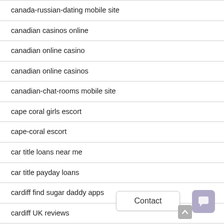canada-russian-dating mobile site
canadian casinos online
canadian online casino
canadian online casinos
canadian-chat-rooms mobile site
cape coral girls escort
cape-coral escort
car title loans near me
car title payday loans
cardiff find sugar daddy apps
cardiff UK reviews
Caribbean Cupid best dating sites